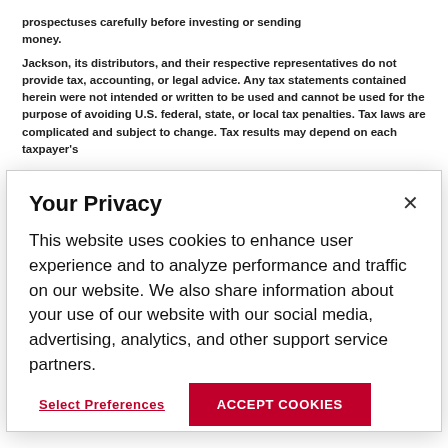prospectuses carefully before investing or sending money.
Jackson, its distributors, and their respective representatives do not provide tax, accounting, or legal advice. Any tax statements contained herein were not intended or written to be used and cannot be used for the purpose of avoiding U.S. federal, state, or local tax penalties. Tax laws are complicated and subject to change. Tax results may depend on each taxpayer's
Your Privacy
This website uses cookies to enhance user experience and to analyze performance and traffic on our website. We also share information about your use of our website with our social media, advertising, analytics, and other support service partners.
Select Preferences
ACCEPT COOKIES